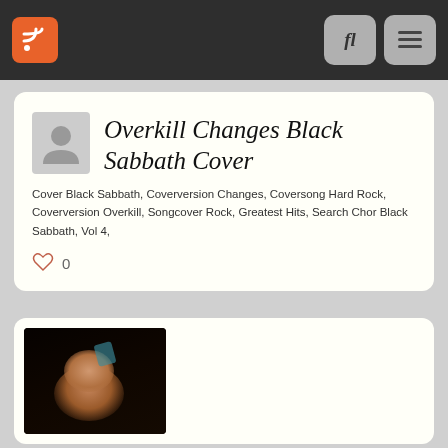Navigation bar with RSS feed icon, search button, and menu button
Overkill Changes Black Sabbath Cover
Cover Black Sabbath, Coverversion Changes, Coversong Hard Rock, Coverversion Overkill, Songcover Rock, Greatest Hits, Search Chor Black Sabbath, Vol 4,
0
[Figure (photo): Dark photo of a woman singing or performing, with a teal/turquoise element visible in the upper area, dark background]